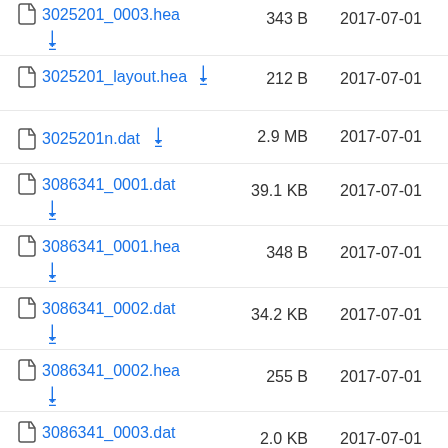3025201_0003.hea  343 B  2017-07-01
3025201_layout.hea  212 B  2017-07-01
3025201n.dat  2.9 MB  2017-07-01
3086341_0001.dat  39.1 KB  2017-07-01
3086341_0001.hea  348 B  2017-07-01
3086341_0002.dat  34.2 KB  2017-07-01
3086341_0002.hea  255 B  2017-07-01
3086341_0003.dat  2.0 KB  2017-07-01
3086341_0003.hea  151 B  2017-07-01